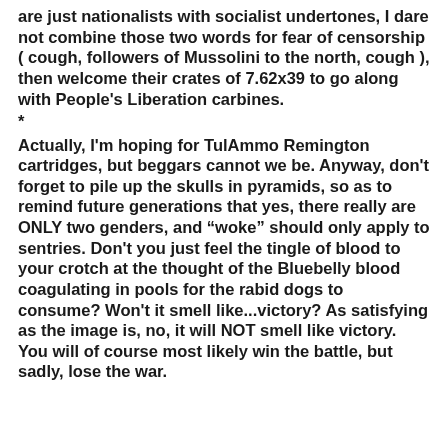are just nationalists with socialist undertones, I dare not combine those two words for fear of censorship ( cough, followers of Mussolini to the north, cough ), then welcome their crates of 7.62x39 to go along with People's Liberation carbines.
*
Actually, I'm hoping for TulAmmo Remington cartridges, but beggars cannot we be. Anyway, don't forget to pile up the skulls in pyramids, so as to remind future generations that yes, there really are ONLY two genders, and “woke” should only apply to sentries. Don't you just feel the tingle of blood to your crotch at the thought of the Bluebelly blood coagulating in pools for the rabid dogs to consume? Won't it smell like...victory? As satisfying as the image is, no, it will NOT smell like victory. You will of course most likely win the battle, but sadly, lose the war.